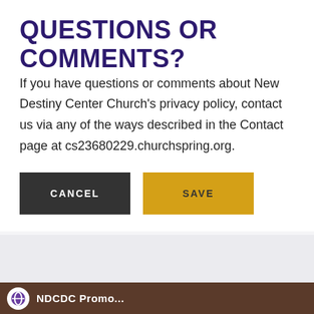QUESTIONS OR COMMENTS?
If you have questions or comments about New Destiny Center Church's privacy policy, contact us via any of the ways described in the Contact page at cs23680229.churchspring.org.
[Figure (screenshot): Two buttons: CANCEL (dark grey background, white text) and SAVE (golden/yellow background, dark text)]
[Figure (screenshot): Bottom banner with NDCDC Promo text and logo on a brown/dark background]